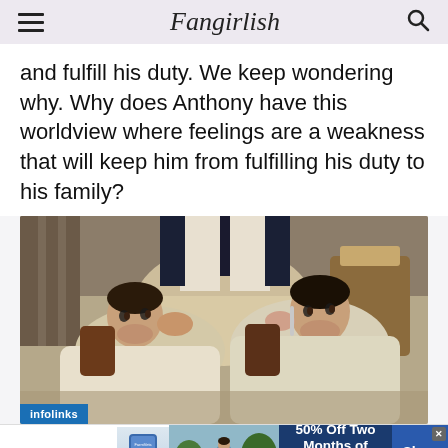Fangirlish
and fulfill his duty. We keep wondering why. Why does Anthony have this worldview where feelings are a weakness that will keep him from fulfilling his duty to his family?
[Figure (photo): Two young men in Regency-era white cravats sitting in barber chairs being groomed, looking at each other. An infolinks badge appears in the bottom-left corner.]
[Figure (screenshot): SmartPak advertisement banner: 50% Off Two Months of ColiCare, ColiCare Eligible Supplements, CODE: COLICARE10, Shop Now button.]